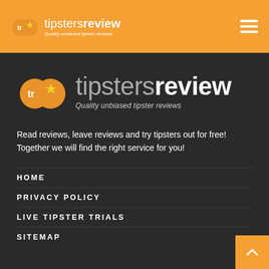tipsters review — Quality unbiased tipster reviews
[Figure (logo): Tipsters Review large logo with two overlapping orange circles containing 'tr' and a star, with 'tipsters review' text and tagline 'Quality unbiased tipster reviews' on dark background]
Read reviews, leave reviews and try tipsters out for free! Together we will find the right service for you!
HOME
PRIVACY POLICY
LIVE TIPSTER TRIALS
SITEMAP